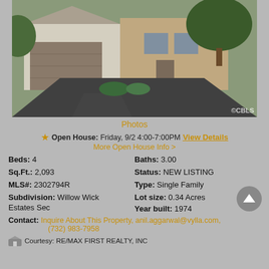[Figure (photo): Exterior photo of a two-story single family home with two-car garage, asphalt driveway, and trees in foreground. Watermark 'CBLS' in bottom right corner.]
Photos
★ Open House: Friday, 9/2 4:00-7:00PM View Details
More Open House Info >
| Beds: 4 | Baths: 3.00 |
| Sq.Ft.: 2,093 | Status: NEW LISTING |
| MLS#: 2302794R | Type: Single Family |
| Subdivision: Willow Wick Estates Sec | Lot size: 0.34 Acres |
|  | Year built: 1974 |
Contact: Inquire About This Property, anil.aggarwal@vylla.com, (732) 983-7958
Courtesy: RE/MAX FIRST REALTY, INC